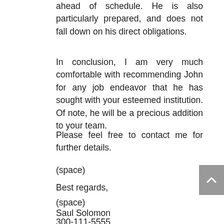ahead of schedule. He is also particularly prepared, and does not fall down on his direct obligations.
In conclusion, I am very much comfortable with recommending John for any job endeavor that he has sought with your esteemed institution. Of note, he will be a precious addition to your team.
Please feel free to contact me for further details.
(space)
Best regards,
(space)
Saul Solomon
300-111-5555